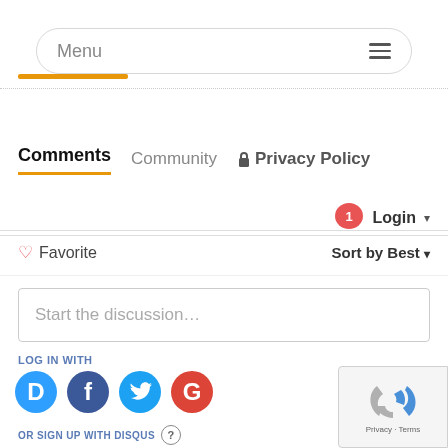[Figure (screenshot): Menu navigation bar with hamburger icon]
[Figure (other): Orange accent underline bar]
Comments  Community  🔒 Privacy Policy
Login ▾ (with notification badge showing 1)
♡ Favorite    Sort by Best ▾
Start the discussion...
LOG IN WITH
[Figure (other): Social login icons: Disqus (D), Facebook (f), Twitter bird, Google (G)]
OR SIGN UP WITH DISQUS ?
[Figure (other): reCAPTCHA widget box with Privacy · Terms]